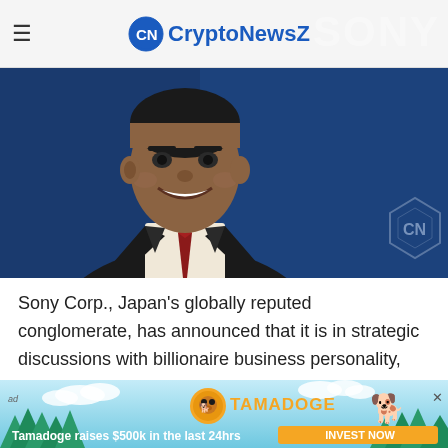CryptoNewsZ
[Figure (photo): Photo of Mukesh Ambani, a businessman in a dark suit with a red tie, smiling, against a dark blue background. CryptoNewsZ logo watermark visible in bottom right. Sony watermark in top right.]
Sony Corp., Japan’s globally reputed conglomerate, has announced that it is in strategic discussions with billionaire business personality, Mr. Mukesh Ambani, to
[Figure (infographic): Tamadoge advertisement banner with sky/clouds/trees background, Tamadoge coin logo, dog mascot, text 'Tamadoge raises $500k in the last 24hrs' and an 'INVEST NOW' button.]